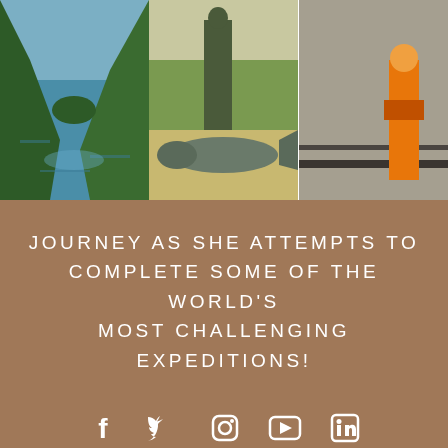[Figure (photo): Three outdoor/expedition photos arranged horizontally: left shows a river/fjord with forested cliffs, center shows a person standing behind a large fish on sandy ground with green marsh grass, right shows a person in safety gear on a rocky/industrial slope.]
JOURNEY AS SHE ATTEMPTS TO COMPLETE SOME OF THE WORLD'S MOST CHALLENGING EXPEDITIONS!
[Figure (infographic): Five white social media icons on brown background: Facebook, Twitter, Instagram, YouTube, LinkedIn]